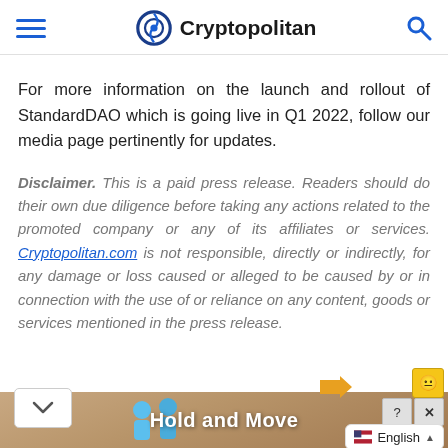Cryptopolitan (navigation header with hamburger menu, logo, and search icon)
For more information on the launch and rollout of StandardDAO which is going live in Q1 2022, follow our media page pertinently for updates.
Disclaimer. This is a paid press release. Readers should do their own due diligence before taking any actions related to the promoted company or any of its affiliates or services. Cryptopolitan.com is not responsible, directly or indirectly, for any damage or loss caused or alleged to be caused by or in connection with the use of or reliance on any content, goods or services mentioned in the press release.
[Figure (screenshot): Advertisement banner at the bottom showing 'Hold and Move' with cartoon characters, a chevron/collapse button, and a language selector showing English with flag icon]